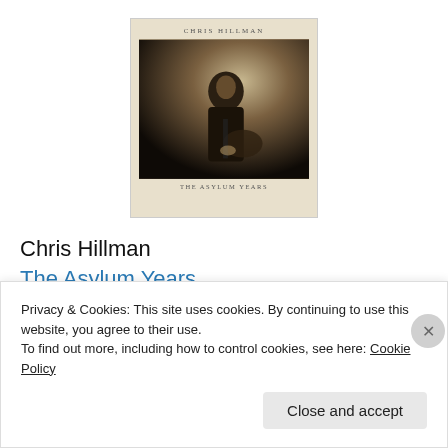[Figure (photo): Album cover for Chris Hillman - The Asylum Years. Cream/beige background with small uppercase text 'CHRIS HILLMAN' at top, a sepia-toned photo of a man playing guitar in dark lighting, and 'THE ASYLUM YEARS' text at bottom.]
Chris Hillman
The Asylum Years
Omnivore
Privacy & Cookies: This site uses cookies. By continuing to use this website, you agree to their use.
To find out more, including how to control cookies, see here: Cookie Policy
Close and accept